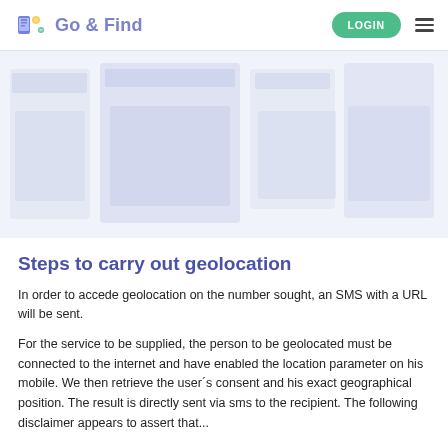Go & Find  LOGIN
[Figure (screenshot): Blurred/placeholder screenshot of the Go & Find app interface showing geolocation step icons]
Steps to carry out geolocation
In order to accede geolocation on the number sought, an SMS with a URL will be sent.
For the service to be supplied, the person to be geolocated must be connected to the internet and have enabled the location parameter on his mobile. We then retrieve the user´s consent and his exact geographical position. The result is directly sent via sms to the recipient. The following disclaimer appears to assert that...